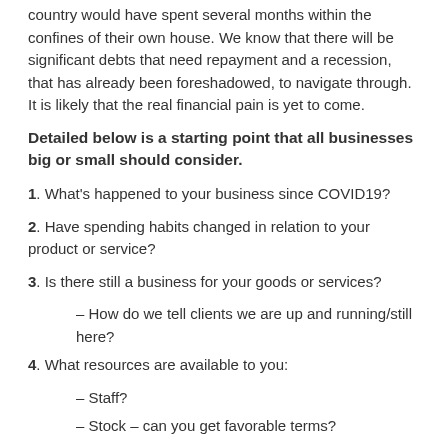country would have spent several months within the confines of their own house. We know that there will be significant debts that need repayment and a recession, that has already been foreshadowed, to navigate through. It is likely that the real financial pain is yet to come.
Detailed below is a starting point that all businesses big or small should consider.
1. What's happened to your business since COVID19?
2. Have spending habits changed in relation to your product or service?
3. Is there still a business for your goods or services?
– How do we tell clients we are up and running/still here?
4. What resources are available to you:
– Staff?
– Stock – can you get favorable terms?